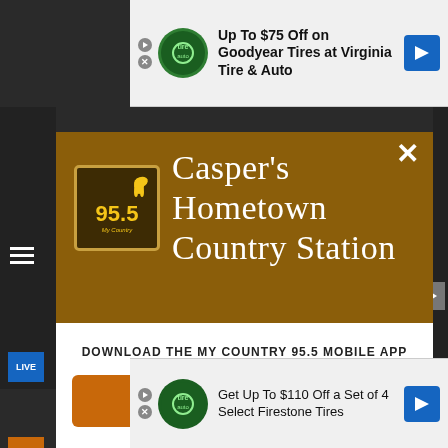[Figure (screenshot): Top advertisement banner: Up To $75 Off on Goodyear Tires at Virginia Tire & Auto]
Up To $75 Off on Goodyear Tires at Virginia Tire & Auto
[Figure (screenshot): Modal popup for My Country 95.5 radio station app download. Brown header with 95.5 My Country logo and text 'Casper's Hometown Country Station'. White bottom section with download prompt and CTA button.]
Casper's Hometown Country Station
DOWNLOAD THE MY COUNTRY 95.5 MOBILE APP
GET OUR FREE MOBILE APP
Also listen on:  amazon alexa
[Figure (screenshot): Bottom advertisement banner: Get Up To $110 Off a Set of 4 Select Firestone Tires]
Get Up To $110 Off a Set of 4 Select Firestone Tires